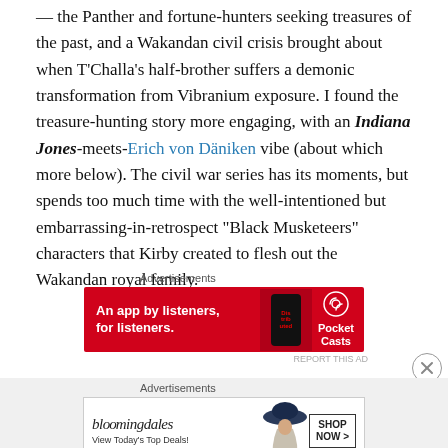— the Panther and fortune-hunters seeking treasures of the past, and a Wakandan civil crisis brought about when T'Challa's half-brother suffers a demonic transformation from Vibranium exposure. I found the treasure-hunting story more engaging, with an Indiana Jones-meets-Erich von Däniken vibe (about which more below). The civil war series has its moments, but spends too much time with the well-intentioned but embarrassing-in-retrospect "Black Musketeers" characters that Kirby created to flesh out the Wakandan royal family.
[Figure (other): Pocket Casts advertisement banner: red background with text 'An app by listeners, for listeners.' and Pocket Casts logo with radio wave icon]
[Figure (other): Bloomingdales advertisement banner: white background with Bloomingdales logo, 'View Today's Top Deals!' text, woman in hat, and 'SHOP NOW >' button]